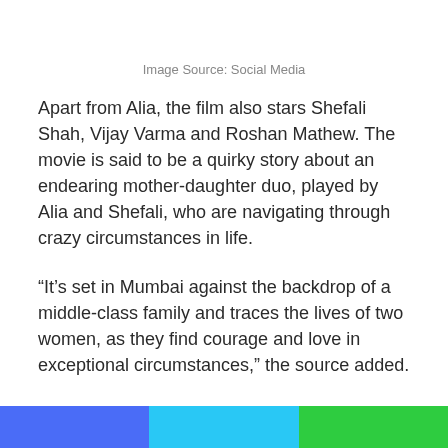Image Source: Social Media
Apart from Alia, the film also stars Shefali Shah, Vijay Varma and Roshan Mathew. The movie is said to be a quirky story about an endearing mother-daughter duo, played by Alia and Shefali, who are navigating through crazy circumstances in life.
“It’s set in Mumbai against the backdrop of a middle-class family and traces the lives of two women, as they find courage and love in exceptional circumstances,” the source added.
An official announcement of the upcoming film is expected this week and according to the source, ‘Darlings’ will go on the